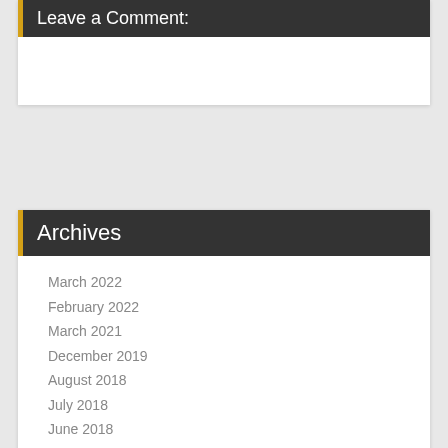Leave a Comment:
Archives
March 2022
February 2022
March 2021
December 2019
August 2018
July 2018
June 2018
May 2018
April 2018
March 2018
February 2018
January 2018